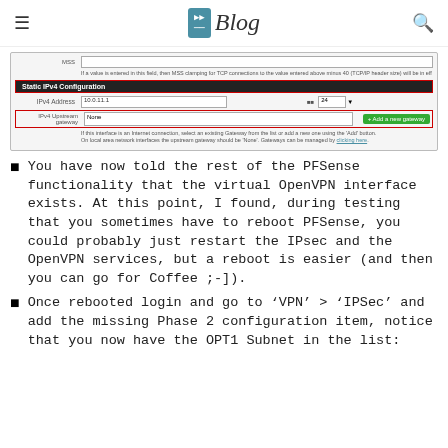Blog
[Figure (screenshot): Screenshot of pfSense Static IPv4 Configuration panel showing MSS field, Static IPv4 Configuration section header (dark bar), IPv4 Address field with value 10.0.11.1 and /24 CIDR, IPv4 Upstream Gateway field with None selected and Add a new gateway button in green, plus help text about gateway configuration.]
You have now told the rest of the PFSense functionality that the virtual OpenVPN interface exists. At this point, I found, during testing that you sometimes have to reboot PFSense, you could probably just restart the IPsec and the OpenVPN services, but a reboot is easier (and then you can go for Coffee ;-]).
Once rebooted login and go to ‘VPN’ > ‘IPSec’ and add the missing Phase 2 configuration item, notice that you now have the OPT1 Subnet in the list: